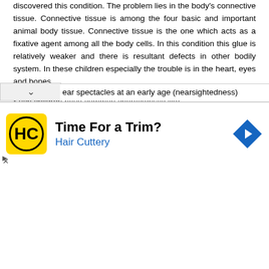discovered this condition. The problem lies in the body's connective tissue. Connective tissue is among the four basic and important animal body tissue. Connective tissue is the one which acts as a fixative agent among all the body cells. In this condition this glue is relatively weaker and there is resultant defects in other bodily system. In these children especially the trouble is in the heart, eyes and bones.
Such children have common characteristic like
lean and thin body
too tall for their age
arms and legs slender and long
ear spectacles at an early age (nearsightedness)
[Figure (other): Advertisement banner for Hair Cuttery with yellow logo, text 'Time For a Trim?' and blue 'Hair Cuttery' subtitle, and a blue navigation diamond icon on the right.]